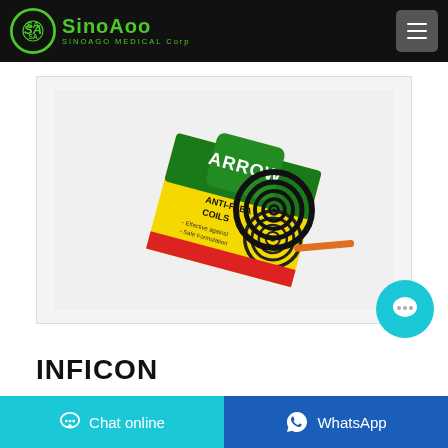[Figure (logo): SinoAoo Medical Corp logo — circular green emblem with 'SA' initials and green text 'SinoAoo' with subtitle 'SINOAGO MEDICAL Corp' on black header bar]
[Figure (photo): Product photo of Arrow brand Anti-Flea Coil box (green and yellow packaging) with a black mosquito coil visible beside it, on white background]
INFICON
Chat online
WhatsApp